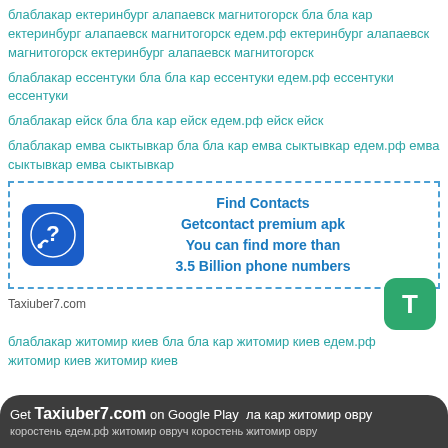блаблакар ектеринбург алапаевск магнитогорск бла бла кар ектеринбург алапаевск магнитогорск едем.рф ектеринбург алапаевск магнитогорск ектеринбург алапаевск магнитогорск
блаблакар ессентуки бла бла кар ессентуки едем.рф ессентуки ессентуки
блаблакар ейск бла бла кар ейск едем.рф ейск ейск
блаблакар емва сыктывкар бла бла кар емва сыктывкар едем.рф емва сыктывкар емва сыктывкар
[Figure (infographic): Find Contacts advertisement box with Getcontact premium apk phone icon and text: Find Contacts, Getcontact premium apk, You can find more than 3.5 Billion phone numbers]
Taxiuber7.com
блаблакар житомир киев бла бла кар житомир киев едем.рф житомир киев житомир киев
бла кар житомир овруч коростень едем.рф житомир овруч коростень житомир овруч